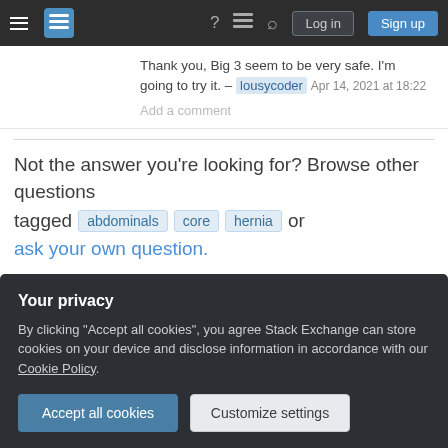Stack Exchange navigation bar with hamburger menu, logo, help, chat, search, Log in, Sign up
Thank you, Big 3 seem to be very safe. I'm going to try it. – lousycoder Apr 14, 2021 at 18:22
Add a comment
Not the answer you're looking for? Browse other questions tagged abdominals core hernia or ask your own question.
Featured on Meta
Announcing the Stack Overflow Student Ambassador
Your privacy
By clicking "Accept all cookies", you agree Stack Exchange can store cookies on your device and disclose information in accordance with our Cookie Policy.
Accept all cookies
Customize settings
exercises?